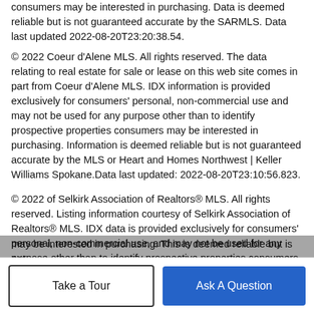consumers may be interested in purchasing. Data is deemed reliable but is not guaranteed accurate by the SARMLS. Data last updated 2022-08-20T23:20:38.54.
© 2022 Coeur d'Alene MLS. All rights reserved. The data relating to real estate for sale or lease on this web site comes in part from Coeur d'Alene MLS. IDX information is provided exclusively for consumers' personal, non-commercial use and may not be used for any purpose other than to identify prospective properties consumers may be interested in purchasing. Information is deemed reliable but is not guaranteed accurate by the MLS or Heart and Homes Northwest | Keller Williams Spokane.Data last updated: 2022-08-20T23:10:56.823.
© 2022 of Selkirk Association of Realtors® MLS. All rights reserved. Listing information courtesy of Selkirk Association of Realtors® MLS. IDX data is provided exclusively for consumers' personal, non-commercial use, and may not be used for any purpose other than to identify prospective properties consumers may be interested in purchasing. This is deemed reliable but is not...
Take a Tour
Ask A Question